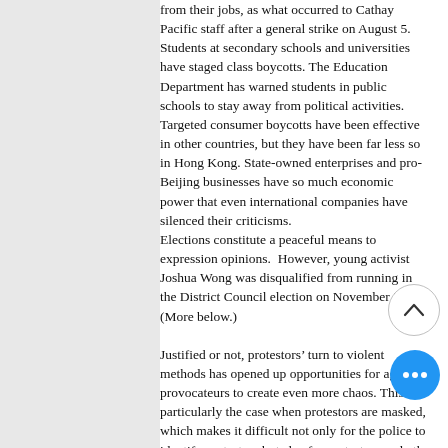from their jobs, as what occurred to Cathay Pacific staff after a general strike on August 5. Students at secondary schools and universities have staged class boycotts. The Education Department has warned students in public schools to stay away from political activities. Targeted consumer boycotts have been effective in other countries, but they have been far less so in Hong Kong. State-owned enterprises and pro-Beijing businesses have so much economic power that even international companies have silenced their criticisms. Elections constitute a peaceful means to expression opinions.  However, young activist Joshua Wong was disqualified from running in the District Council election on November 24. (More below.) Justified or not, protestors' turn to violent methods has opened up opportunities for agents provocateurs to create even more chaos. This is particularly the case when protestors are masked, which makes it difficult not only for the police to identify protestors but also for protestors and others identify the police and thugs who are camouflaged as protestors. Police officers